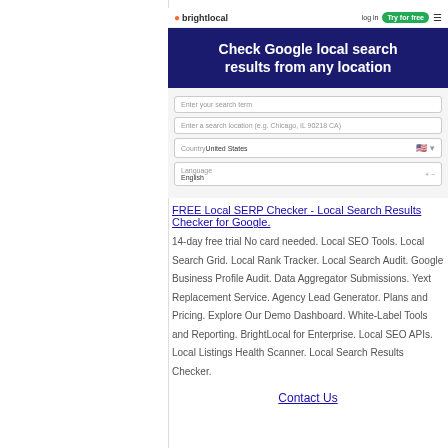[Figure (screenshot): BrightLocal website screenshot showing header with logo, login and 'Try for free' buttons, hamburger menu, a dark navy hero banner with text 'Check Google local search results from any location', and a form with fields for search term, search location (e.g. Chicago, IL 90218 CA), country (United States with US flag), and language.]
FREE Local SERP Checker - Local Search Results Checker for Google. 14-day free trial No card needed. Local SEO Tools. Local Search Grid. Local Rank Tracker. Local Search Audit. Google Business Profile Audit. Data Aggregator Submissions. Yext Replacement Service. Agency Lead Generator. Plans and Pricing. Explore Our Demo Dashboard. White-Label Tools and Reporting. BrightLocal for Enterprise. Local SEO APIs. Local Listings Health Scanner. Local Search Results Checker.
Contact Us